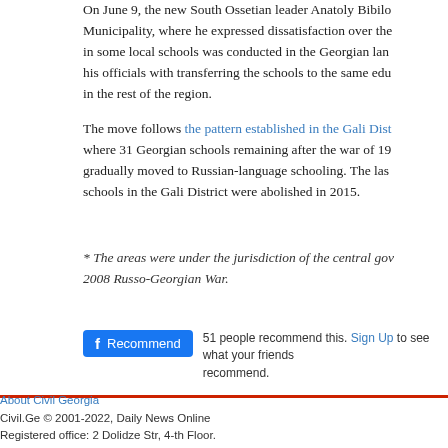On June 9, the new South Ossetian leader Anatoly Bibilo... Municipality, where he expressed dissatisfaction over the... in some local schools was conducted in the Georgian lan... his officials with transferring the schools to the same edu... in the rest of the region.
The move follows the pattern established in the Gali Dist... where 31 Georgian schools remaining after the war of 19... gradually moved to Russian-language schooling. The las... schools in the Gali District were abolished in 2015.
* The areas were under the jurisdiction of the central gov... 2008 Russo-Georgian War.
[Figure (other): Facebook Recommend button with text: 51 people recommend this. Sign Up to see what your friends recommend.]
About Civil Georgia
Civil.Ge © 2001-2022, Daily News Online
Registered office: 2 Dolidze Str, 4-th Floor.